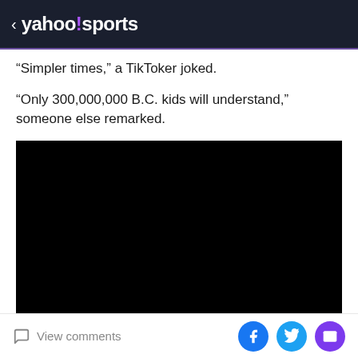< yahoo!sports
“Simpler times,” a TikToker joked.
“Only 300,000,000 B.C. kids will understand,” someone else remarked.
[Figure (other): Black rectangular video embed area]
View comments | Share on Facebook, Twitter, Email